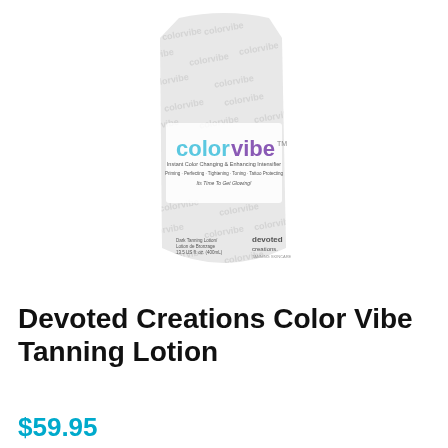[Figure (photo): Product photo of Devoted Creations Color Vibe Tanning Lotion pouch/packet. The packaging is light grey/white with 'colorvibe' logo text where 'color' is in light blue and 'vibe' is in purple. Background of the packet has repeating 'colorvibe' watermark text. Tagline reads 'Instant Color Changing & Enhancing Intensifier / Priming · Perfecting · Tightening · Toning · Tattoo Protecting / Its Time To Get Glowing!' Bottom shows 'Dark Tanning Lotion / Lotion de Bronzage / 13.5 US fl. oz. (400mL)' and 'devoted creations' brand logo.]
Devoted Creations Color Vibe Tanning Lotion
$59.95